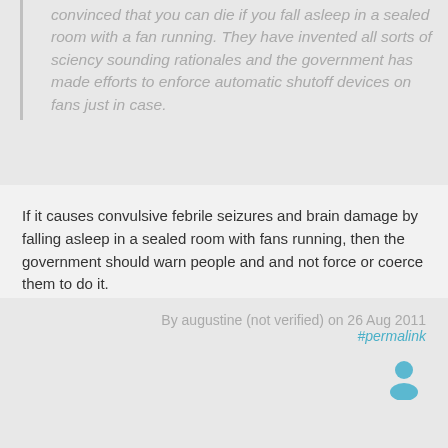convinced that you can die if you fall asleep in a sealed room with a fan running. They have invented all sorts of sciency sounding rationales and the government has made efforts to enforce automatic shutoff devices on fans just in case.
If it causes convulsive febrile seizures and brain damage by falling asleep in a sealed room with fans running, then the government should warn people and and not force or coerce them to do it.
Log in to post comments
By augustine (not verified) on 26 Aug 2011 #permalink